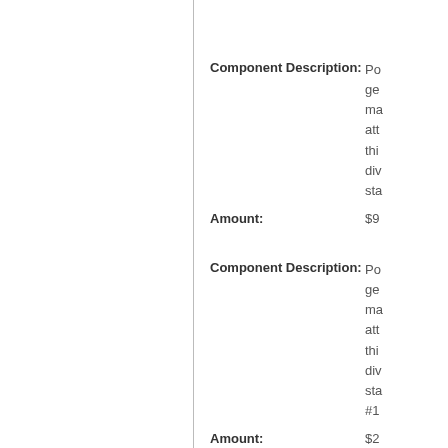Component Description: Po... ge... ma... att... thi... div... sta...
Amount: $9...
Component Description: Po... ge... ma... att... thi... div... sta... #1...
Amount: $2...